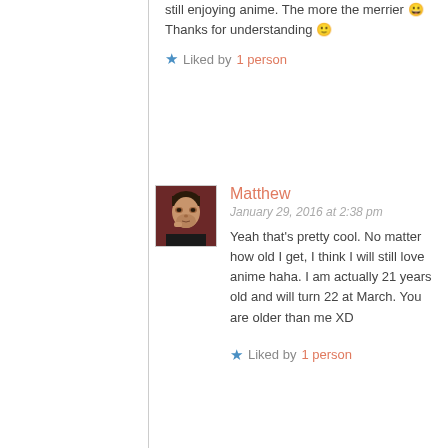still enjoying anime. The more the merrier 😀
Thanks for understanding 🙂
★ Liked by 1 person
[Figure (photo): Avatar photo of Matthew, a young man with dark hair]
Matthew
January 29, 2016 at 2:38 pm
Yeah that's pretty cool. No matter how old I get, I think I will still love anime haha. I am actually 21 years old and will turn 22 at March. You are older than me XD
★ Liked by 1 person